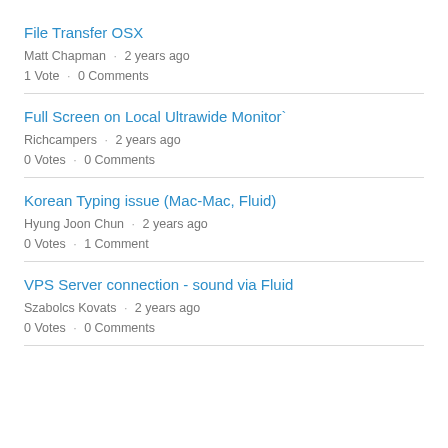File Transfer OSX
Matt Chapman · 2 years ago
1 Vote · 0 Comments
Full Screen on Local Ultrawide Monitor`
Richcampers · 2 years ago
0 Votes · 0 Comments
Korean Typing issue (Mac-Mac, Fluid)
Hyung Joon Chun · 2 years ago
0 Votes · 1 Comment
VPS Server connection - sound via Fluid
Szabolcs Kovats · 2 years ago
0 Votes · 0 Comments